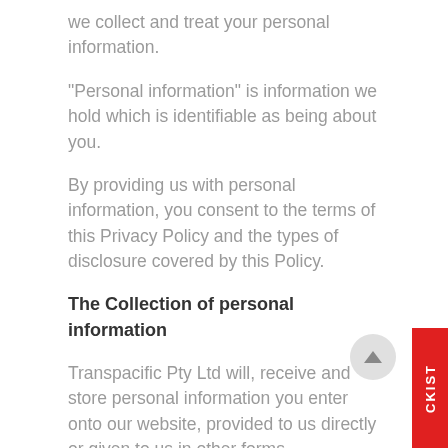we collect and treat your personal information.
“Personal information” is information we hold which is identifiable as being about you.
By providing us with personal information, you consent to the terms of this Privacy Policy and the types of disclosure covered by this Policy.
The Collection of personal information
Transpacific Pty Ltd will, receive and store personal information you enter onto our website, provided to us directly or given to us in other forms.
You may provide basic information such as your name, phone number, address and email